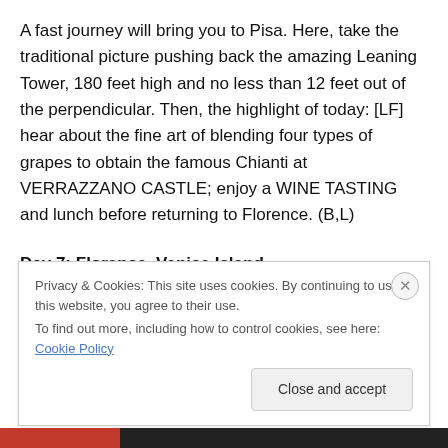A fast journey will bring you to Pisa. Here, take the traditional picture pushing back the amazing Leaning Tower, 180 feet high and no less than 12 feet out of the perpendicular. Then, the highlight of today: [LF] hear about the fine art of blending four types of grapes to obtain the famous Chianti at VERRAZZANO CASTLE; enjoy a WINE TASTING and lunch before returning to Florence. (B,L)
Day 7: Florence–Venice Island.
A spectacular drive through the wooded Apennine Mountains brings you to Venice, a powerful magnet for
Privacy & Cookies: This site uses cookies. By continuing to use this website, you agree to their use.
To find out more, including how to control cookies, see here: Cookie Policy
Close and accept